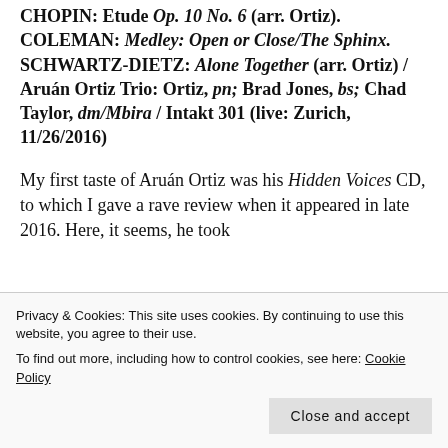CHOPIN: Etude Op. 10 No. 6 (arr. Ortiz). COLEMAN: Medley: Open or Close/The Sphinx. SCHWARTZ-DIETZ: Alone Together (arr. Ortiz) / Aruán Ortiz Trio: Ortiz, pn; Brad Jones, bs; Chad Taylor, dm/Mbira / Intakt 301 (live: Zurich, 11/26/2016)
My first taste of Aruán Ortiz was his Hidden Voices CD, to which I gave a rave review when it appeared in late 2016. Here, it seems, he took a couple of months later. This live CD
Privacy & Cookies: This site uses cookies. By continuing to use this website, you agree to their use. To find out more, including how to control cookies, see here: Cookie Policy